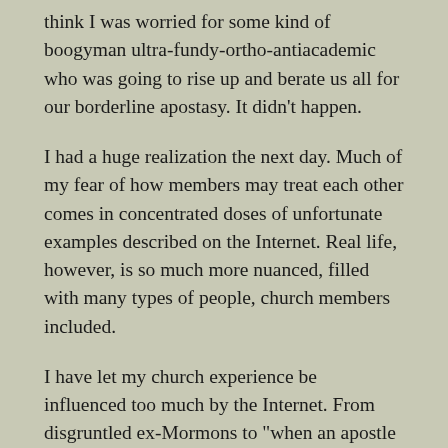think I was worried for some kind of boogyman ultra-fundy-ortho-antiacademic who was going to rise up and berate us all for our borderline apostasy. It didn't happen.
I had a huge realization the next day. Much of my fear of how members may treat each other comes in concentrated doses of unfortunate examples described on the Internet. Real life, however, is so much more nuanced, filled with many types of people, church members included.
I have let my church experience be influenced too much by the Internet. From disgruntled ex-Mormons to "when an apostle speaks the thinking has been done" types who view the Constitution as the fourth member of the Godhead (I have a few acquaintances who fit this mold